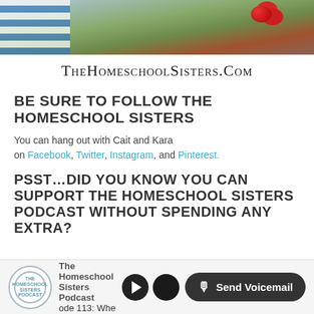[Figure (photo): Top banner photo showing a striped blue hat on the left and red berries with autumn leaves on the right]
TheHomeschoolSisters.Com
BE SURE TO FOLLOW THE HOMESCHOOL SISTERS
You can hang out with Cait and Kara on Facebook, Twitter, Instagram, and Pinterest.
PSST…DID YOU KNOW YOU CAN SUPPORT THE HOMESCHOOL SISTERS PODCAST WITHOUT SPENDING ANY EXTRA?
The Homeschool Sisters Podcast | ode 113: When Kids Are R | Send Voicemail